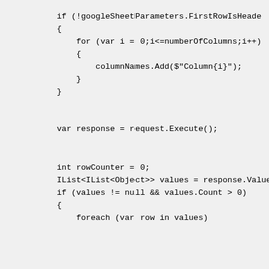if (!googleSheetParameters.FirstRowIsHeade
{
    for (var i = 0;i<=numberOfColumns;i++)
    {
        columnNames.Add($"Column{i}");
    }
}


var response = request.Execute();


int rowCounter = 0;
IList<IList<Object>> values = response.Values
if (values != null && values.Count > 0)
{
    foreach (var row in values)